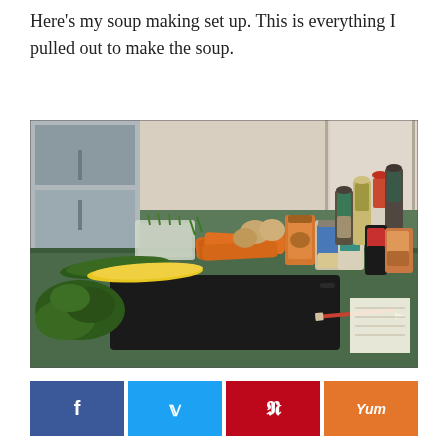Here's my soup making set up. This is everything I pulled out to make the soup.
[Figure (photo): Kitchen counter with soup ingredients including carrots, zucchini, yellow squash, cilantro, green onions in a container, various spices and jars, a cutting board, a pencil, and a notepad. A stainless steel refrigerator is visible in the background.]
f  t  p  Yum (social sharing buttons: Facebook, Twitter, Pinterest, Yummly)